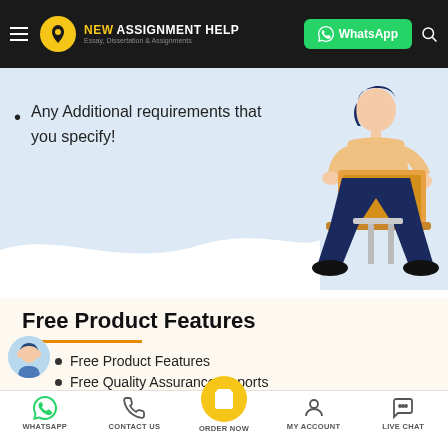NEW ASSIGNMENT HELP - Essay, Dissertation & Assignments | WhatsApp
Any Additional requirements that you specify!
[Figure (illustration): Woman sitting on stool with laptop illustration]
Free Product Features
Free Product Features
Free Quality Assurance Reports
[Figure (illustration): Male avatar/person illustration in bottom left]
WHATSAPP | CONTACT US | ORDER NOW | MY ACCOUNT | LIVE CHAT